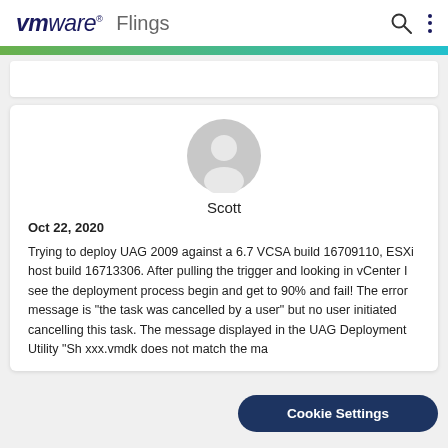vmware Flings
[Figure (illustration): Gray generic user avatar/profile silhouette icon]
Scott
Oct 22, 2020
Trying to deploy UAG 2009 against a 6.7 VCSA build 16709110, ESXi host build 16713306. After pulling the trigger and looking in vCenter I see the deployment process begin and get to 90% and fail! The error message is "the task was cancelled by a user" but no user initiated cancelling this task. The message displayed in the UAG Deployment Utility "Sh xxx.vmdk does not match the ma
Cookie Settings